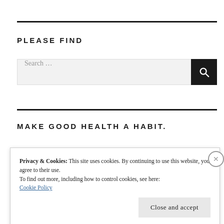PLEASE FIND
Search ...
MAKE GOOD HEALTH A HABIT.
Privacy & Cookies: This site uses cookies. By continuing to use this website, you agree to their use.
To find out more, including how to control cookies, see here:
Cookie Policy
Close and accept